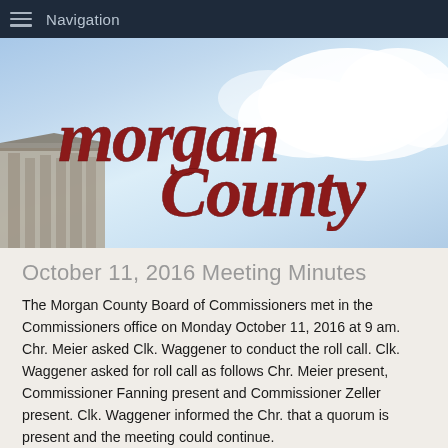Navigation
[Figure (photo): Morgan County Illinois header banner with sky background, clouds, building silhouette, and Morgan County Illinois script logo]
October 11, 2016 Meeting Minutes
The Morgan County Board of Commissioners met in the Commissioners office on Monday October 11, 2016 at 9 am. Chr. Meier asked Clk. Waggener to conduct the roll call. Clk. Waggener asked for roll call as follows Chr. Meier present, Commissioner Fanning present and Commissioner Zeller present. Clk. Waggener informed the Chr. that a quorum is present and the meeting could continue.
Chr. Meier said that the first order of business is the approval